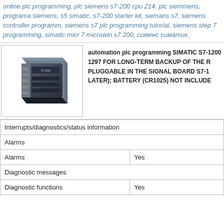online plc programming, plc siemens s7-200 cpu 214, plc siemmens, programa siemens, s5 simatic, s7-200 starter kit, siemans s7, siemens controller programm, siemens s7 plc programming tutorial, siemens step 7 programming, simatic micr 7 microwin s7 200, сименс симатик.
[Figure (photo): Photo of a Siemens SIMATIC S7-1200 PLC module, a compact dark grey/black rectangular device with a Siemens logo and model label on the front.]
automation plc programming SIMATIC S7-1200 1297 FOR LONG-TERM BACKUP OF THE R PLUGGABLE IN THE SIGNAL BOARD S7-1 LATER); BATTERY (CR1025) NOT INCLUDE
| Interrupts/diagnostics/status information |  |
| --- | --- |
| Alarms |  |
| Alarms | Yes |
| Diagnostic messages |  |
| Diagnostic functions | Yes |